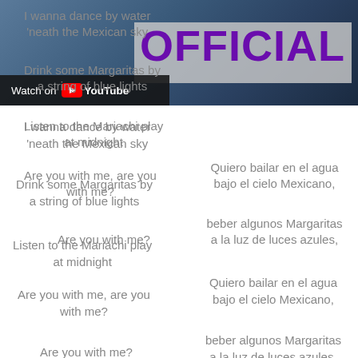[Figure (screenshot): YouTube video thumbnail showing 'OFFICIAL' text in purple on a gray banner overlay, with 'Watch on YouTube' bar at bottom left. Background shows a dark blue-toned image of a person.]
I wanna dance by water
'neath the Mexican sky
Drink some Margaritas by
a string of blue lights
Listen to the Mariachi play
at midnight
Are you with me, are you
with me?
Quiero bailar en el agua
bajo el cielo Mexicano,
beber algunos Margaritas
a la luz de luces azules,
Are you with me?